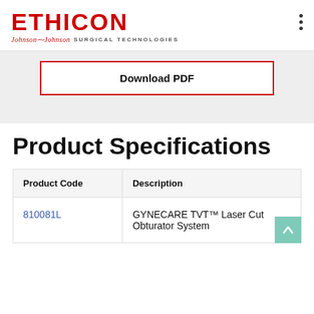ETHICON | Johnson & Johnson SURGICAL TECHNOLOGIES
Download PDF
Product Specifications
| Product Code | Description |
| --- | --- |
| 810081L | GYNECARE TVT™ Laser Cut Obturator System |